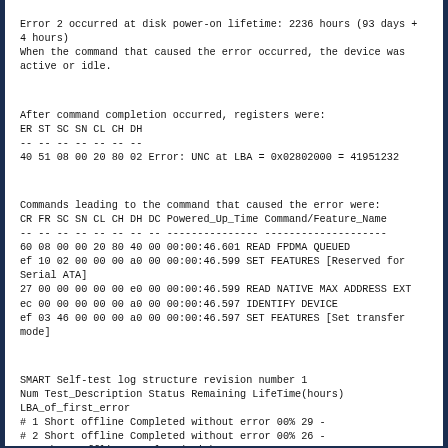Error 2 occurred at disk power-on lifetime: 2236 hours (93 days + 4 hours)
When the command that caused the error occurred, the device was active or idle.
After command completion occurred, registers were:
ER ST SC SN CL CH DH
-- -- -- -- -- -- --
40 51 08 00 20 80 02 Error: UNC at LBA = 0x02802000 = 41951232
Commands leading to the command that caused the error were:
CR FR SC SN CL CH DH DC Powered_Up_Time Command/Feature_Name
-- -- -- -- -- -- -- -- --------------- --------------------
60 08 00 00 20 80 40 00 00:00:46.601 READ FPDMA QUEUED
ef 10 02 00 00 00 a0 00 00:00:46.599 SET FEATURES [Reserved for Serial ATA]
27 00 00 00 00 00 e0 00 00:00:46.599 READ NATIVE MAX ADDRESS EXT
ec 00 00 00 00 00 a0 00 00:00:46.597 IDENTIFY DEVICE
ef 03 46 00 00 00 a0 00 00:00:46.597 SET FEATURES [Set transfer mode]
SMART Self-test log structure revision number 1
Num Test_Description Status Remaining LifeTime(hours) LBA_of_first_error
# 1 Short offline Completed without error 00% 29 -
# 2 Short offline Completed without error 00% 26 -
# 3 Short offline Completed without error 00% 8 -
# 4 Short offline Completed without error 00% 2 -
SMART Selective self-test log data structure revision number 1
SPAN MIN_LBA MAX_LBA CURRENT_TEST_STATUS
1 0 0 Not_testing
2 0 0 Not_testing
3 0 0 Not_testing
4 0 0 Not_testing
5 0 0 Not_testing
Selective self-test flags (0x0):
After scanning selected spans, do NOT read-scan remainder of disk.
If Selective self-test is pending on power-up, resume after 0 minute delay.